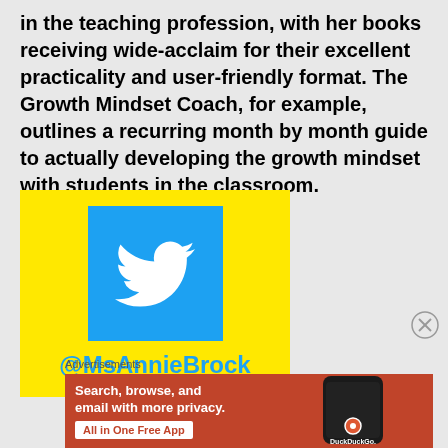in the teaching profession, with her books receiving wide-acclaim for their excellent practicality and user-friendly format. The Growth Mindset Coach, for example, outlines a recurring month by month guide to actually developing the growth mindset with students in the classroom.
[Figure (other): Yellow Twitter card showing the Twitter bird logo on a blue square background, with the handle @MsAnnieBrock in blue text below.]
Advertisements
[Figure (other): DuckDuckGo advertisement banner on orange/red background with text 'Search, browse, and email with more privacy. All in One Free App' and a phone mockup with DuckDuckGo logo.]